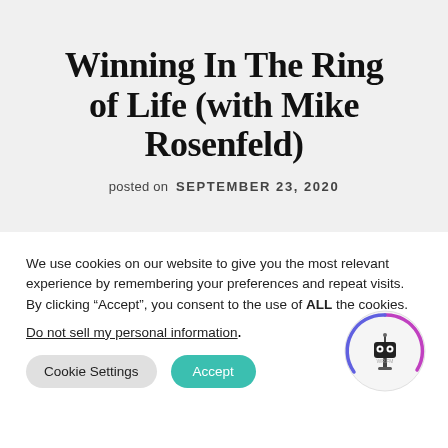Winning In The Ring of Life (with Mike Rosenfeld)
posted on SEPTEMBER 23, 2020
We use cookies on our website to give you the most relevant experience by remembering your preferences and repeat visits. By clicking “Accept”, you consent to the use of ALL the cookies.
Do not sell my personal information.
Cookie Settings  Accept